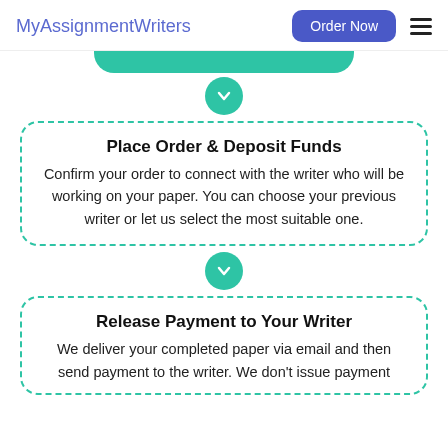MyAssignmentWriters | Order Now
Place Order & Deposit Funds
Confirm your order to connect with the writer who will be working on your paper. You can choose your previous writer or let us select the most suitable one.
Release Payment to Your Writer
We deliver your completed paper via email and then send payment to the writer. We don't issue payment